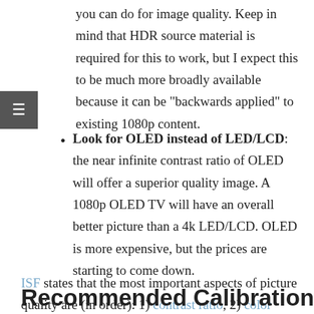you can do for image quality. Keep in mind that HDR source material is required for this to work, but I expect this to be much more broadly available because it can be "backwards applied" to existing 1080p content.
Look for OLED instead of LED/LCD: the near infinite contrast ratio of OLED will offer a superior quality image. A 1080p OLED TV will have an overall better picture than a 4k LED/LCD. OLED is more expensive, but the prices are starting to come down.
ISF states that the most important aspects of picture quality are (in order): 1) contrast ratio, 2) color saturation, 3) color accuracy, 4) resolution. Resolution is 4th on the list, so look at other factors first. Also, be sure to calibrate your display! I recommend the following calibration tools.
Recommended Calibration Tools